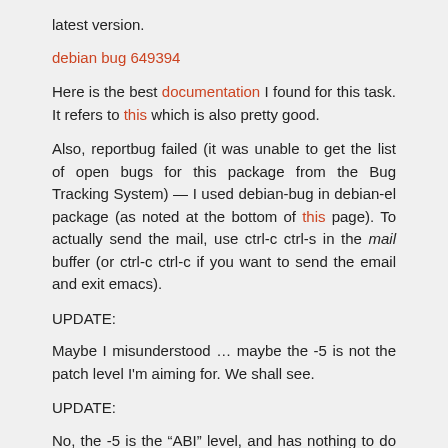latest version.
debian bug 649394
Here is the best documentation I found for this task. It refers to this which is also pretty good.
Also, reportbug failed (it was unable to get the list of open bugs for this package from the Bug Tracking System) — I used debian-bug in debian-el package (as noted at the bottom of this page). To actually send the mail, use ctrl-c ctrl-s in the mail buffer (or ctrl-c ctrl-c if you want to send the email and exit emacs).
UPDATE:
Maybe I misunderstood … maybe the -5 is not the patch level I'm aiming for. We shall see.
UPDATE:
No, the -5 is the "ABI" level, and has nothing to do with the Debian patch level. So there was no bug. I was supposed to build with all the patches. Live and learn …
10/29: Still can't start X under Xen 4.0 hypervisor